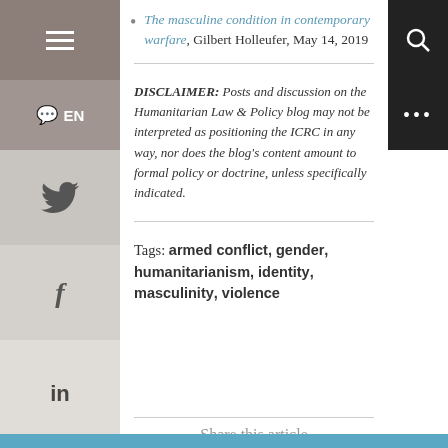The masculine condition in contemporary warfare, Gilbert Holleufer, May 14, 2019
DISCLAIMER: Posts and discussion on the Humanitarian Law & Policy blog may not be interpreted as positioning the ICRC in any way, nor does the blog's content amount to formal policy or doctrine, unless specifically indicated.
Tags: armed conflict, gender, humanitarianism, identity, masculinity, violence
Share this article